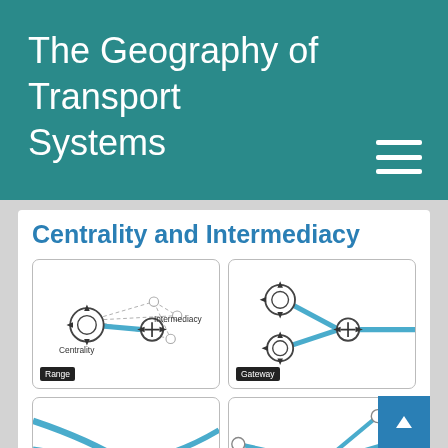The Geography of Transport Systems
Centrality and Intermediacy
[Figure (network-graph): Network diagram showing Range: a central node labeled Centrality connected by thick blue lines to an intermediary node labeled Intermediacy, with dashed lines connecting to peripheral nodes, illustrating range concept.]
[Figure (network-graph): Network diagram showing Gateway: two circular nodes on the left connect via thick blue lines to a central intermediary node, which connects to a line extending right, illustrating gateway concept.]
[Figure (network-graph): Network diagram showing curved blue and gray lines converging at a central crossed-circle node, illustrating a hub or throughput concept.]
[Figure (network-graph): Network diagram showing a central crossed-circle node with multiple lines radiating outward to small circular endpoints, illustrating a hub-and-spoke concept.]